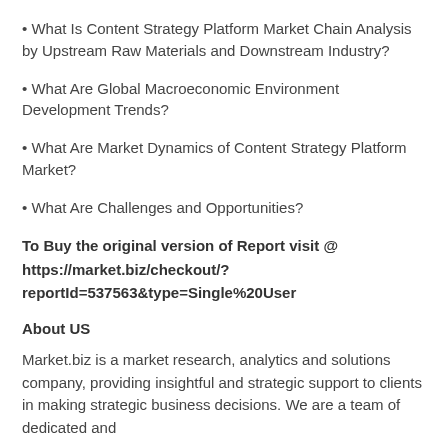• What Is Content Strategy Platform Market Chain Analysis by Upstream Raw Materials and Downstream Industry?
• What Are Global Macroeconomic Environment Development Trends?
• What Are Market Dynamics of Content Strategy Platform Market?
• What Are Challenges and Opportunities?
To Buy the original version of Report visit @ https://market.biz/checkout/?reportId=537563&type=Single%20User
About US
Market.biz is a market research, analytics and solutions company, providing insightful and strategic support to clients in making strategic business decisions. We are a team of dedicated and